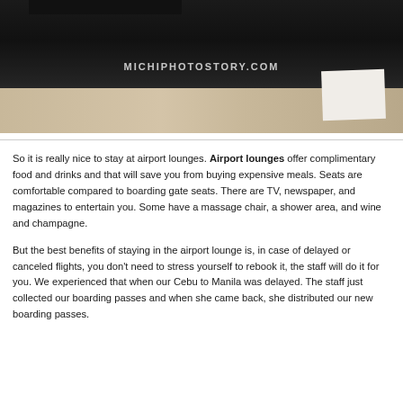[Figure (photo): Interior airport lounge photo showing a dark floor area with a white paper/document on a black surface. Watermark 'MICHIPHOTOSTORY.COM' visible in center.]
So it is really nice to stay at airport lounges. Airport lounges offer complimentary food and drinks and that will save you from buying expensive meals. Seats are comfortable compared to boarding gate seats. There are TV, newspaper, and magazines to entertain you. Some have a massage chair, a shower area, and wine and champagne.
But the best benefits of staying in the airport lounge is, in case of delayed or canceled flights, you don't need to stress yourself to rebook it, the staff will do it for you. We experienced that when our Cebu to Manila was delayed. The staff just collected our boarding passes and when she came back, she distributed our new boarding passes.